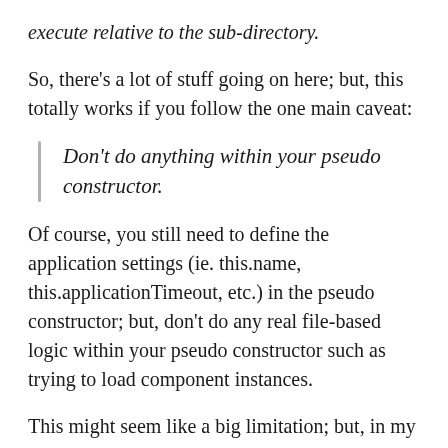execute relative to the sub-directory.
So, there's a lot of stuff going on here; but, this totally works if you follow the one main caveat:
Don't do anything within your pseudo constructor.
Of course, you still need to define the application settings (ie. this.name, this.applicationTimeout, etc.) in the pseudo constructor; but, don't do any real file-based logic within your pseudo constructor such as trying to load component instances.
This might seem like a big limitation; but, in my experience, it's not really. The ColdFusion